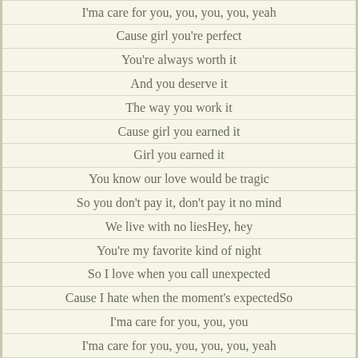I'ma care for you, you, you, you, yeah
Cause girl you're perfect
You're always worth it
And you deserve it
The way you work it
Cause girl you earned it
Girl you earned it
You know our love would be tragic
So you don't pay it, don't pay it no mind
We live with no liesHey, hey
You're my favorite kind of night
So I love when you call unexpected
Cause I hate when the moment's expectedSo
I'ma care for you, you, you
I'ma care for you, you, you, you, yeah